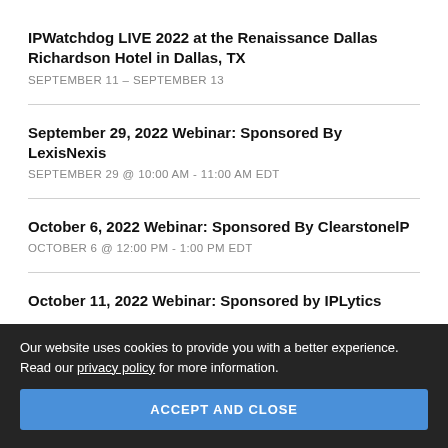IPWatchdog LIVE 2022 at the Renaissance Dallas Richardson Hotel in Dallas, TX
SEPTEMBER 11 – SEPTEMBER 13
September 29, 2022 Webinar: Sponsored By LexisNexis
SEPTEMBER 29 @ 10:00 AM - 11:00 AM EDT
October 6, 2022 Webinar: Sponsored By ClearstonelP
OCTOBER 6 @ 12:00 PM - 1:00 PM EDT
October 11, 2022 Webinar: Sponsored by IPLytics
Our website uses cookies to provide you with a better experience. Read our privacy policy for more information.
ACCEPT AND CLOSE